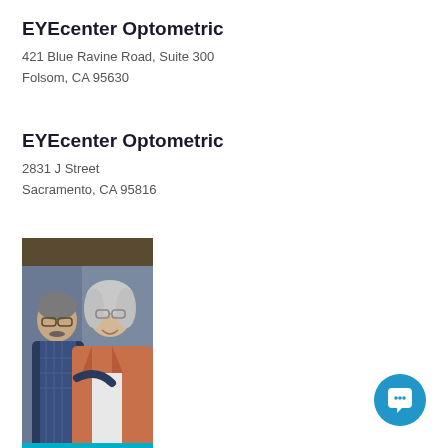EYEcenter Optometric
421 Blue Ravine Road, Suite 300
Folsom, CA 95630
EYEcenter Optometric
2831 J Street
Sacramento, CA 95816
[Figure (photo): An older couple, a man wearing glasses and a blue plaid shirt with a navy vest, and a woman with gray hair wearing a pink denim jacket, both smiling. A teal bar appears at the bottom of the photo.]
[Figure (other): A blue circular chat button icon in the bottom right corner.]